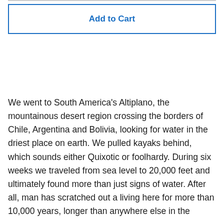[Figure (other): Add to Cart button with blue border]
We went to South America's Altiplano, the mountainous desert region crossing the borders of Chile, Argentina and Bolivia, looking for water in the driest place on earth. We pulled kayaks behind, which sounds either Quixotic or foolhardy. During six weeks we traveled from sea level to 20,000 feet and ultimately found more than just signs of water. After all, man has scratched out a living here for more than 10,000 years, longer than anywhere else in the